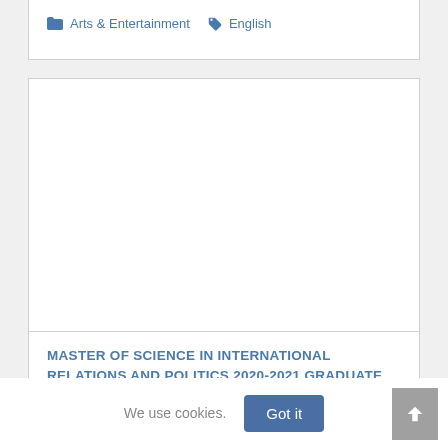Arts & Entertainment   English
[Figure (other): Empty white card area, image placeholder]
MASTER OF SCIENCE IN INTERNATIONAL RELATIONS AND POLITICS 2020-2021 GRADUATE HANDBOOK
We use cookies.
Got it